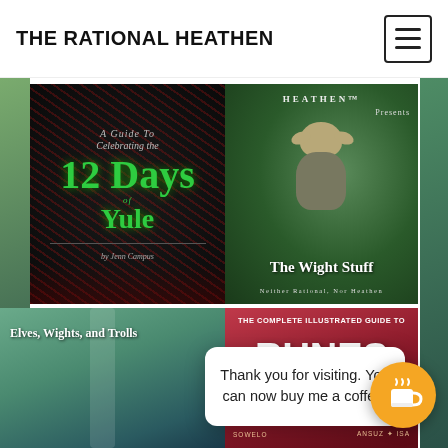THE RATIONAL HEATHEN
[Figure (photo): Book cover: A Guide To Celebrating the 12 Days of Yule by Jenn Campus, dark background with green decorative text]
[Figure (photo): Book/video cover: Heathen Presents - The Wight Stuff, Neither Rational Nor Heathen, featuring a Yoda-like statue in a garden]
[Figure (photo): Book cover: Elves, Wights, and Trolls, waterfall background]
[Figure (photo): Book cover: The Complete Illustrated Guide to Runes, red background with rune symbols]
Thank you for visiting. You can now buy me a coffee!